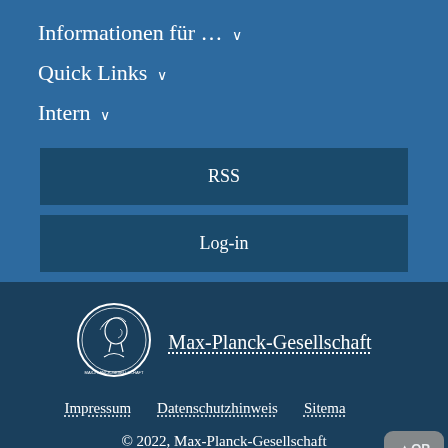Informationen für ... ∨
Quick Links ∨
Intern ∨
RSS
Log-in
[Figure (logo): Max-Planck-Gesellschaft circular coin logo with a profile portrait]
Max-Planck-Gesellschaft
Impressum    Datenschutzhinweis    Sitemap
© 2022, Max-Planck-Gesellschaft